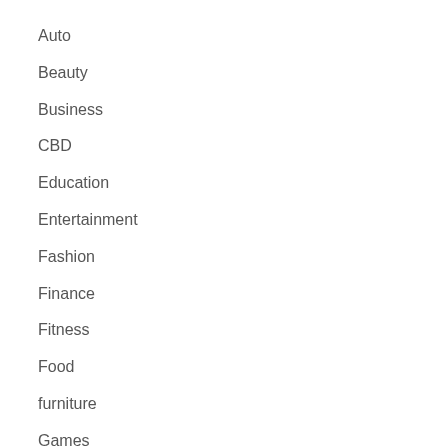Auto
Beauty
Business
CBD
Education
Entertainment
Fashion
Finance
Fitness
Food
furniture
Games